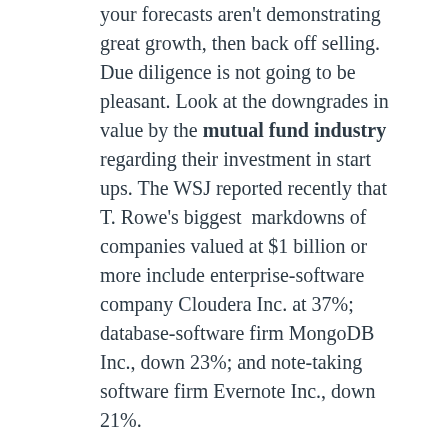your forecasts aren't demonstrating great growth, then back off selling. Due diligence is not going to be pleasant. Look at the downgrades in value by the mutual fund industry regarding their investment in start ups. The WSJ reported recently that T. Rowe's biggest markdowns of companies valued at $1 billion or more include enterprise-software company Cloudera Inc. at 37%; database-software firm MongoDB Inc., down 23%; and note-taking software firm Evernote Inc., down 21%.
6. Legacy products dominate your economics. Acquirers are getting smarter at looking beyond the deal. They are getting better at realizing that post acquisition costs could turn a well-priced deal into a nightmare.